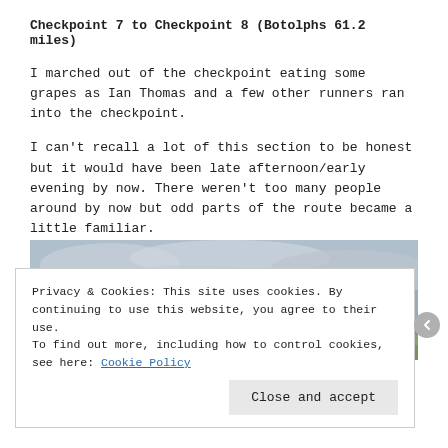Checkpoint 7 to Checkpoint 8 (Botolphs 61.2 miles)
I marched out of the checkpoint eating some grapes as Ian Thomas and a few other runners ran into the checkpoint.
I can't recall a lot of this section to be honest but it would have been late afternoon/early evening by now. There weren't too many people around by now but odd parts of the route became a little familiar.
[Figure (photo): Wide landscape photograph showing an overcast sky with grey clouds over low hills and flat terrain, with a tree visible on the right side of the image.]
Privacy & Cookies: This site uses cookies. By continuing to use this website, you agree to their use.
To find out more, including how to control cookies, see here: Cookie Policy
[Close and accept]